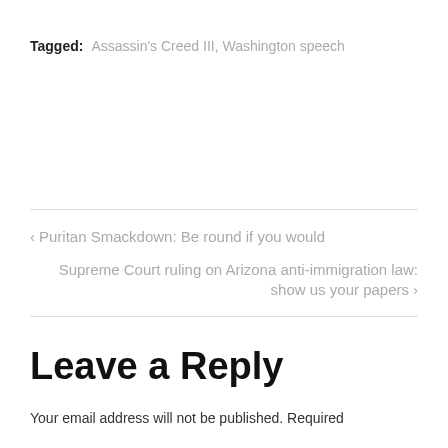Tagged: Assassin's Creed III, Washington speech
< Puritan Smackdown: Be round if you would
Supreme Court ruling on Arizona anti-immigration law: show us your papers >
Leave a Reply
Your email address will not be published. Required